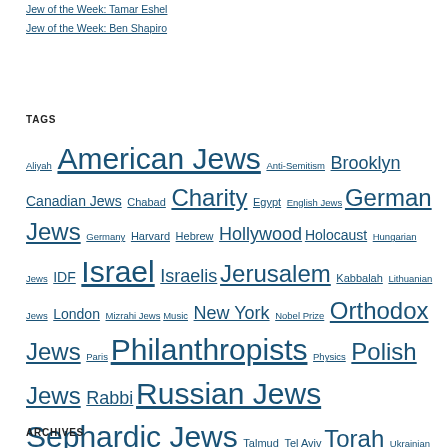Jew of the Week: Tamar Eshel
Jew of the Week: Ben Shapiro
TAGS
Aliyah American Jews Anti-Semitism Brooklyn Canadian Jews Chabad Charity Egypt English Jews German Jews Germany Harvard Hebrew Hollywood Holocaust Hungarian Jews IDF Israel Israelis Jerusalem Kabbalah Lithuanian Jews London Mizrahi Jews Music New York Nobel Prize Orthodox Jews Paris Philanthropists Physics Polish Jews Rabbi Russian Jews Sephardic Jews Talmud Tel Aviv Torah Ukrainian Jews War of Independence World War I World War II Yeshiva Zionism Zionist
ARCHIVES